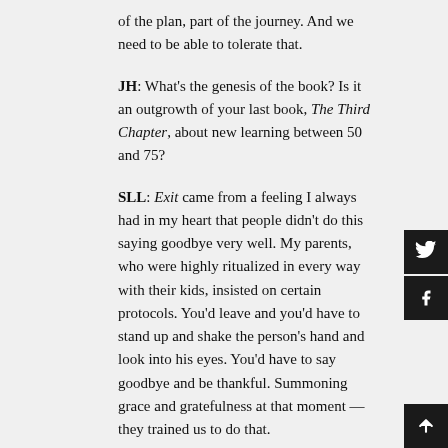of the plan, part of the journey. And we need to be able to tolerate that.
JH: What's the genesis of the book? Is it an outgrowth of your last book, The Third Chapter, about new learning between 50 and 75?
SLL: Exit came from a feeling I always had in my heart that people didn't do this saying goodbye very well. My parents, who were highly ritualized in every way with their kids, insisted on certain protocols. You'd leave and you'd have to stand up and shake the person's hand and look into his eyes. You'd have to say goodbye and be thankful. Summoning grace and gratefulness at that moment — they trained us to do that.
My parents were also very embracing people. Very physical. So exits had a physicality — hugging and cuddling and see you later. My mother was a physician;